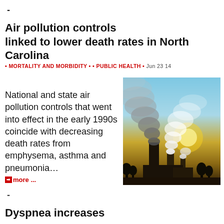-
Air pollution controls linked to lower death rates in North Carolina
• MORTALITY AND MORBIDITY • • PUBLIC HEALTH • Jun 23 14
National and state air pollution controls that went into effect in the early 1990s coincide with decreasing death rates from emphysema, asthma and pneumonia… ➡ more ...
[Figure (photo): Industrial smokestacks emitting large clouds of dark and white smoke against a golden sunset sky, with silhouetted trees and factory buildings in the background.]
-
Dyspnea increases